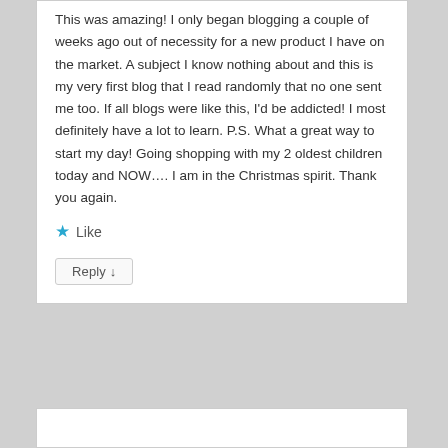This was amazing! I only began blogging a couple of weeks ago out of necessity for a new product I have on the market. A subject I know nothing about and this is my very first blog that I read randomly that no one sent me too. If all blogs were like this, I'd be addicted! I most definitely have a lot to learn. P.S. What a great way to start my day! Going shopping with my 2 oldest children today and NOW…. I am in the Christmas spirit. Thank you again.
★ Like
Reply ↓